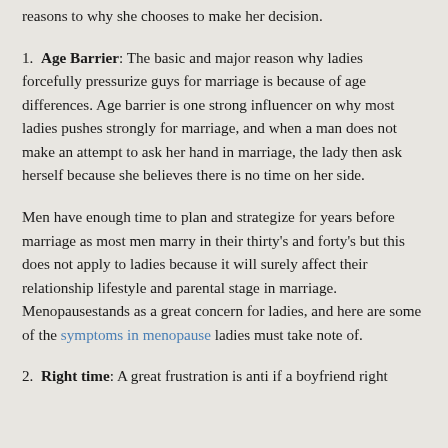reasons to why she chooses to make her decision.
1.  Age Barrier: The basic and major reason why ladies forcefully pressurize guys for marriage is because of age differences. Age barrier is one strong influencer on why most ladies pushes strongly for marriage, and when a man does not make an attempt to ask her hand in marriage, the lady then ask herself because she believes there is no time on her side.
Men have enough time to plan and strategize for years before marriage as most men marry in their thirty's and forty's but this does not apply to ladies because it will surely affect their relationship lifestyle and parental stage in marriage. Menopausestands as a great concern for ladies, and here are some of the symptoms in menopause ladies must take note of.
2.  Right time: A great frustration is anti if a boyfriend right